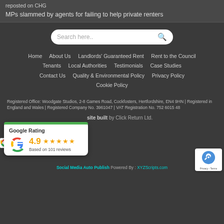reposted on CHG
MPs slammed by agents for failing to help private renters
[Figure (screenshot): Search bar with placeholder text 'Search here..' and search icon]
Home
About Us
Landlords' Guaranteed Rent
Rent to the Council
Tenants
Local Authorities
Testimonials
Case Studies
Contact Us
Quality & Environmental Policy
Privacy Policy
Cookie Policy
Registered Office: Woodgate Studios, 2-8 Games Road, Cockfosters, Hertfordshire, EN4 9HN | Registered in England and Wales | Registered Company No. 3961047 | VAT Registration No. 752 6015 48
site built by Click Return Ltd.
[Figure (infographic): Google Rating card showing 4.9 stars based on 101 reviews with Google G logo and 5 orange stars]
[Figure (logo): reCAPTCHA badge with logo and Privacy - Terms text]
Social Media Auto Publish Powered By : XYZScripts.com